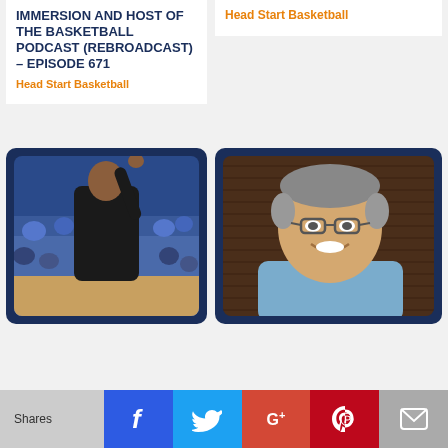IMMERSION AND HOST OF THE BASKETBALL PODCAST (REBROADCAST) – EPISODE 671
Head Start Basketball
Head Start Basketball
[Figure (photo): Basketball coach on sideline with arm raised, crowd in background]
[Figure (photo): Smiling man with glasses in front of wooden wall]
INTERVIEWS
COACHING ADVICE
Shares